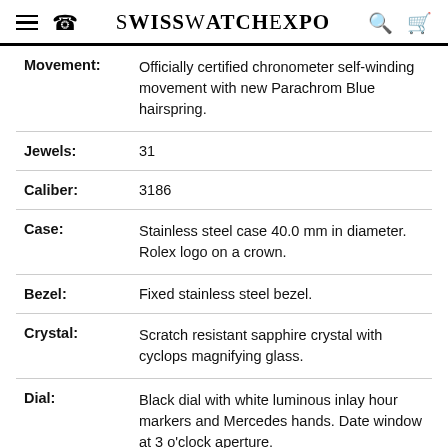SwissWatchExpo
| Attribute | Value |
| --- | --- |
| Movement: | Officially certified chronometer self-winding movement with new Parachrom Blue hairspring. |
| Jewels: | 31 |
| Caliber: | 3186 |
| Case: | Stainless steel case 40.0 mm in diameter. Rolex logo on a crown. |
| Bezel: | Fixed stainless steel bezel. |
| Crystal: | Scratch resistant sapphire crystal with cyclops magnifying glass. |
| Dial: | Black dial with white luminous inlay hour markers and Mercedes hands. Date window at 3 o'clock aperture. |
| Bracelet: | Stainless steel oyster bracelet with flip lock clasp. Fits 7 3/4" wrist. |
| Condition: | Mint condition |